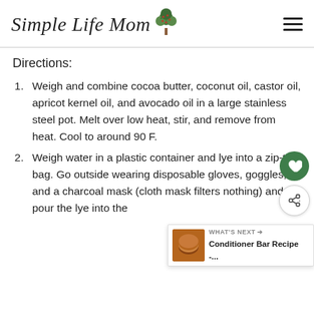Simple Life Mom
Directions:
Weigh and combine cocoa butter, coconut oil, castor oil, apricot kernel oil, and avocado oil in a large stainless steel pot. Melt over low heat, stir, and remove from heat. Cool to around 90 F.
Weigh water in a plastic container and lye into a zip-top bag. Go outside wearing disposable gloves, goggles, and a charcoal mask (cloth mask filters nothing) and pour the lye into the